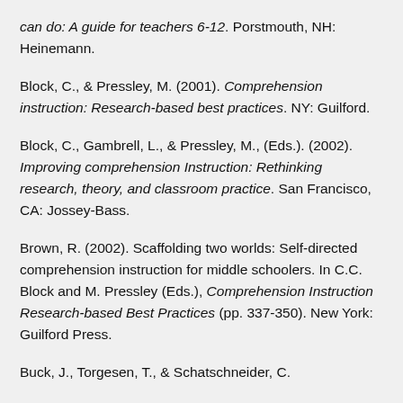can do: A guide for teachers 6-12. Porstmouth, NH: Heinemann.
Block, C., & Pressley, M. (2001). Comprehension instruction: Research-based best practices. NY: Guilford.
Block, C., Gambrell, L., & Pressley, M., (Eds.). (2002). Improving comprehension Instruction: Rethinking research, theory, and classroom practice. San Francisco, CA: Jossey-Bass.
Brown, R. (2002). Scaffolding two worlds: Self-directed comprehension instruction for middle schoolers. In C.C. Block and M. Pressley (Eds.), Comprehension Instruction Research-based Best Practices (pp. 337-350). New York: Guilford Press.
Buck, J., Torgesen, T., & Schatschneider, C.